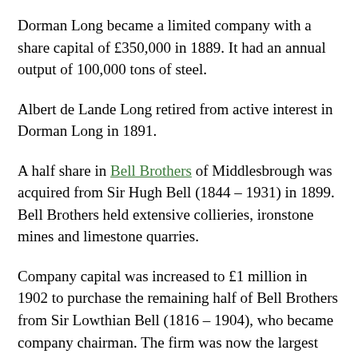Dorman Long became a limited company with a share capital of £350,000 in 1889. It had an annual output of 100,000 tons of steel.
Albert de Lande Long retired from active interest in Dorman Long in 1891.
A half share in Bell Brothers of Middlesbrough was acquired from Sir Hugh Bell (1844 – 1931) in 1899. Bell Brothers held extensive collieries, ironstone mines and limestone quarries.
Company capital was increased to £1 million in 1902 to purchase the remaining half of Bell Brothers from Sir Lowthian Bell (1816 – 1904), who became company chairman. The firm was now the largest steel producer in the North of England, and the only one that was entirely vertically integrated.